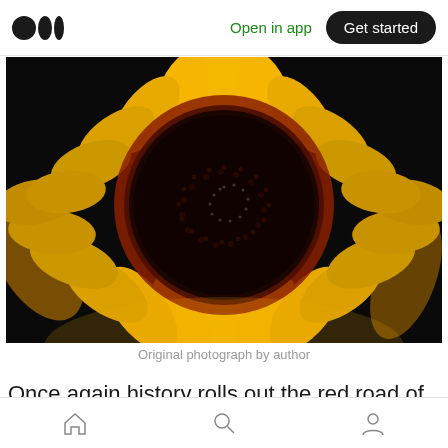Medium logo | Open in app | Get started
[Figure (photo): Close-up photograph of a sunflower with bright yellow petals and a large dark brown/black center disc, shot against a black background]
Original photograph by author
Once again history rolls out the red road of war
Home | Search | Profile